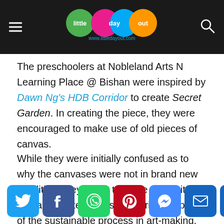Little Day Out — www.littledayout.com
The preschoolers at Nobleland Arts N Learning Place @ Bishan were inspired by Dawn Ng's HDB Corridor to create Secret Garden. In creating the piece, they were encouraged to make use of old pieces of canvas.
While they were initially confused as to why the canvases were not in brand new condition, they learnt to make use of it and that artists like to reuse materials as part of the sustainable process in art-making.
[Figure (infographic): Social media sharing buttons row: Twitter (blue), Facebook (dark blue), WhatsApp (green), Pinterest (red), Messenger (blue), Email (dark blue), More (dark blue)]